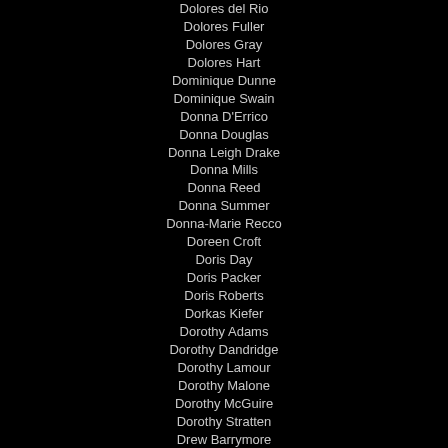Dolores del Rio
Dolores Fuller
Dolores Gray
Dolores Hart
Dominique Dunne
Dominique Swain
Donna D'Errico
Donna Douglas
Donna Leigh Drake
Donna Mills
Donna Reed
Donna Summer
Donna-Marie Recco
Doreen Croft
Doris Day
Doris Packer
Doris Roberts
Dorkas Kiefer
Dorothy Adams
Dorothy Dandridge
Dorothy Lamour
Dorothy Malone
Dorothy McGuire
Dorothy Stratten
Drew Barrymore
Dyan Cannon
E
Eartha Kitt